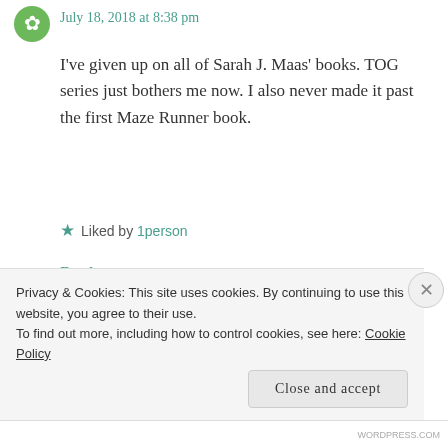July 18, 2018 at 8:38 pm
I've given up on all of Sarah J. Maas' books. TOG series just bothers me now. I also never made it past the first Maze Runner book.
★ Liked by 1person
Reply →
NIA
July 22, 2018 at 9:59 am
Privacy & Cookies: This site uses cookies. By continuing to use this website, you agree to their use.
To find out more, including how to control cookies, see here: Cookie Policy
Close and accept